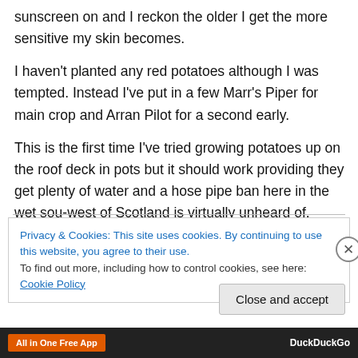sunscreen on and I reckon the older I get the more sensitive my skin becomes.
I haven't planted any red potatoes although I was tempted. Instead I've put in a few Marr's Piper for main crop and Arran Pilot for a second early.
This is the first time I've tried growing potatoes up on the roof deck in pots but it should work providing they get plenty of water and a hose pipe ban here in the wet southwest of Scotland is virtually unheard of.
Privacy & Cookies: This site uses cookies. By continuing to use this website, you agree to their use.
To find out more, including how to control cookies, see here: Cookie Policy
Close and accept